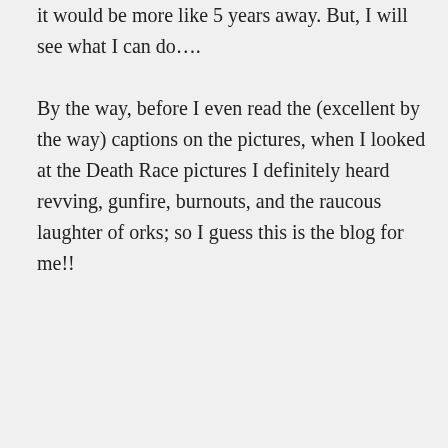it would be more like 5 years away. But, I will see what I can do….

By the way, before I even read the (excellent by the way) captions on the pictures, when I looked at the Death Race pictures I definitely heard revving, gunfire, burnouts, and the raucous laughter of orks; so I guess this is the blog for me!!
★ Liked by 1 person
↳ Reply
Advertisements
AUT⊙MATTIC
Build a better web and a better world.